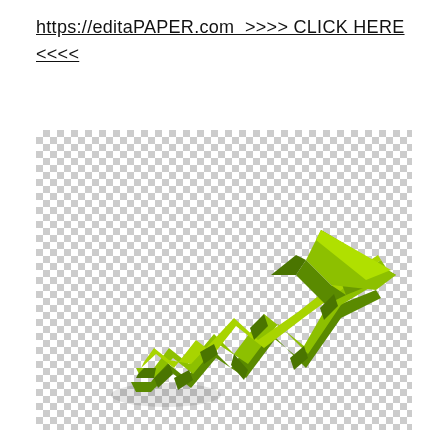https://editaPAPER.com  >>>> CLICK HERE <<<<
[Figure (illustration): 3D green upward-trending arrow icon with zigzag base rising steeply to upper right, on a transparent checkerboard background. The arrow is rendered in bright green/yellow-green with 3D shading.]